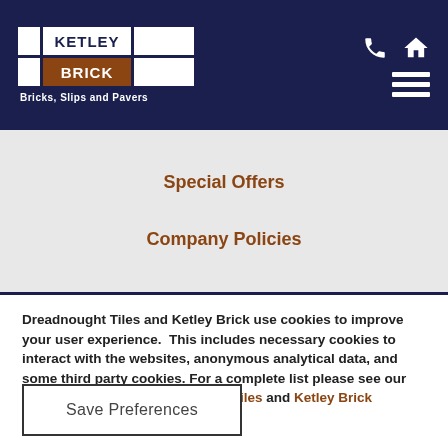[Figure (logo): Ketley Brick logo with grid layout showing KETLEY and BRICK text, subtitle: Bricks, Slips and Pavers]
Special Offers
Company Policies
Dreadnought Tiles and Ketley Brick use cookies to improve your user experience.  This includes necessary cookies to interact with the websites, anonymous analytical data, and some third party cookies. For a complete list please see our cookie policies for Dreadnought Tiles and Ketley Brick
Save Preferences